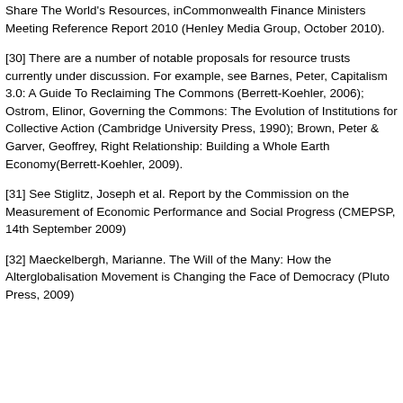Share The World's Resources, inCommonwealth Finance Ministers Meeting Reference Report 2010 (Henley Media Group, October 2010).
[30] There are a number of notable proposals for resource trusts currently under discussion. For example, see Barnes, Peter, Capitalism 3.0: A Guide To Reclaiming The Commons (Berrett-Koehler, 2006); Ostrom, Elinor, Governing the Commons: The Evolution of Institutions for Collective Action (Cambridge University Press, 1990); Brown, Peter & Garver, Geoffrey, Right Relationship: Building a Whole Earth Economy(Berrett-Koehler, 2009).
[31] See Stiglitz, Joseph et al. Report by the Commission on the Measurement of Economic Performance and Social Progress (CMEPSP, 14th September 2009)
[32] Maeckelbergh, Marianne. The Will of the Many: How the Alterglobalisation Movement is Changing the Face of Democracy (Pluto Press, 2009)